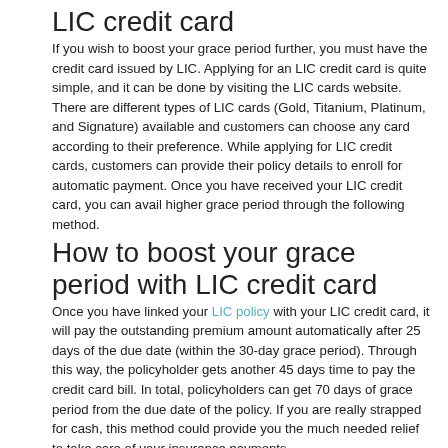LIC credit card
If you wish to boost your grace period further, you must have the credit card issued by LIC. Applying for an LIC credit card is quite simple, and it can be done by visiting the LIC cards website. There are different types of LIC cards (Gold, Titanium, Platinum, and Signature) available and customers can choose any card according to their preference. While applying for LIC credit cards, customers can provide their policy details to enroll for automatic payment. Once you have received your LIC credit card, you can avail higher grace period through the following method.
How to boost your grace period with LIC credit card
Once you have linked your LIC policy with your LIC credit card, it will pay the outstanding premium amount automatically after 25 days of the due date (within the 30-day grace period). Through this way, the policyholder gets another 45 days time to pay the credit card bill. In total, policyholders can get 70 days of grace period from the due date of the policy. If you are really strapped for cash, this method could provide you the much needed relief to take care of your insurance payments.
Conclusion
As noted earlier, there will not be any coverage for the policyholder until the outstanding premium amount is paid. Even under this method, the policyholder will not get any coverage for the first 25 days. Hence, it is always better to pay